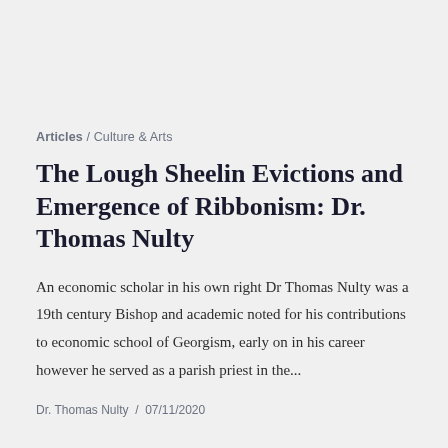Articles / Culture & Arts
The Lough Sheelin Evictions and Emergence of Ribbonism: Dr. Thomas Nulty
An economic scholar in his own right Dr Thomas Nulty was a 19th century Bishop and academic noted for his contributions to economic school of Georgism, early on in his career however he served as a parish priest in the...
Dr. Thomas Nulty  /  07/11/2020